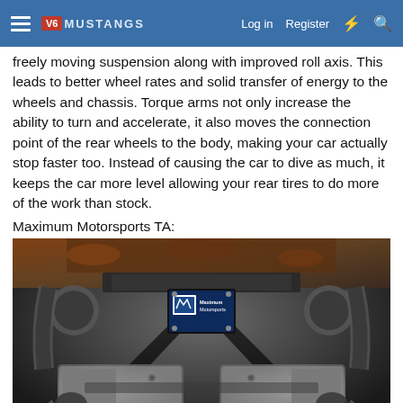V6 Mustangs — Log in  Register
freely moving suspension along with improved roll axis. This leads to better wheel rates and solid transfer of energy to the wheels and chassis. Torque arms not only increase the ability to turn and accelerate, it also moves the connection point of the rear wheels to the body, making your car actually stop faster too. Instead of causing the car to dive as much, it keeps the car more level allowing your rear tires to do more of the work than stock.
Maximum Motorsports TA:
[Figure (photo): Undercarriage view of a Mustang rear suspension showing a Maximum Motorsports torque arm (branded component visible in the center), exhaust pipes, and rear axle components.]